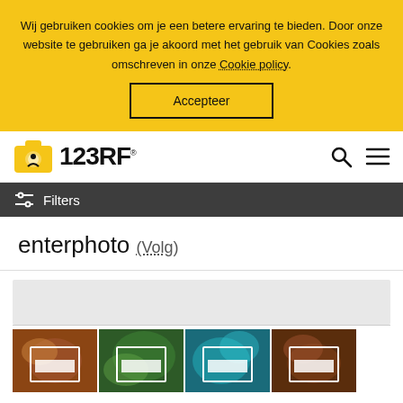Wij gebruiken cookies om je een betere ervaring te bieden. Door onze website te gebruiken ga je akoord met het gebruik van Cookies zoals omschreven in onze Cookie policy.
Accepteer
[Figure (logo): 123RF logo with camera icon]
Filters
enterphoto (Volg)
[Figure (photo): Gray placeholder area]
[Figure (photo): Four thumbnail images of nature/abstract photos with white frame overlays]